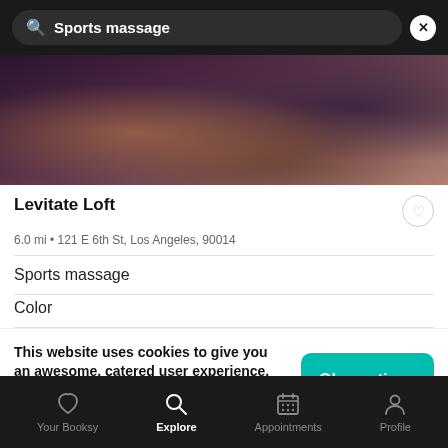[Figure (screenshot): Search bar with 'Sports massage' query on dark background with X close button]
[Figure (photo): Interior room photo showing wicker basket, chairs and salon/spa equipment in dark moody lighting]
Levitate Loft
6.0 mi • 121 E 6th St, Los Angeles, 90014
Sports massage
Color
This website uses cookies to give you an awesome, catered user experience. Continuing on after seeing this message means that you're cool with that.
Ok, continue
Your Booksy  Explore  Appointments  Profile